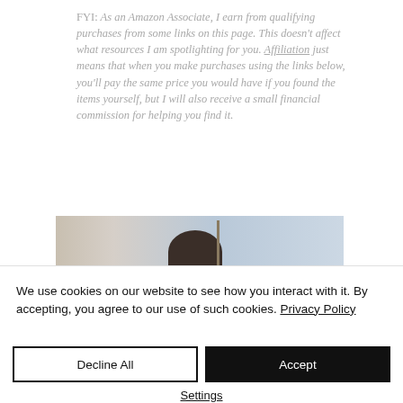FYI: As an Amazon Associate, I earn from qualifying purchases from some links on this page. This doesn't affect what resources I am spotlighting for you. Affiliation just means that when you make purchases using the links below, you'll pay the same price you would have if you found the items yourself, but I will also receive a small financial commission for helping you find it.
[Figure (photo): Partial photo showing the top of a person's head with dark hair against a light blue sky, with a vertical pole or structure visible.]
We use cookies on our website to see how you interact with it. By accepting, you agree to our use of such cookies. Privacy Policy
Decline All
Accept
Settings